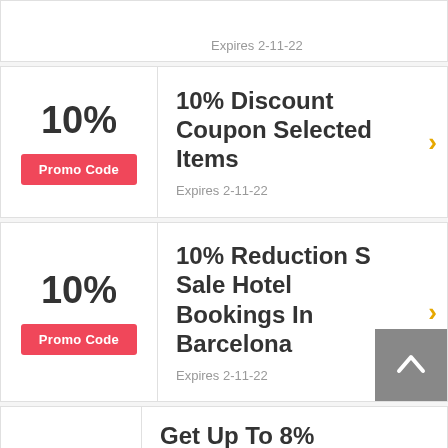Expires 2-11-22
10%
Promo Code
10% Discount Coupon Selected Items
Expires 2-11-22
10%
Promo Code
10% Reduction S Sale Hotel Bookings In Barcelona
Expires 2-11-22
Get Up To 8% Discount At